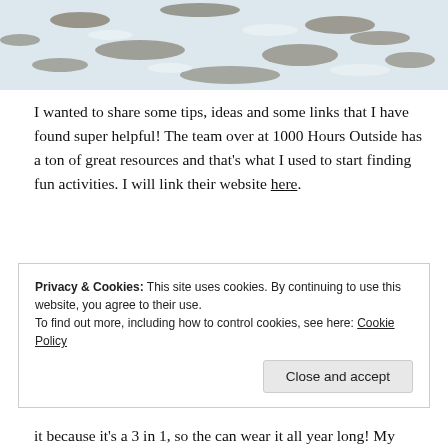[Figure (photo): Aerial or close-up view of snowy ground with dark grass or debris visible through snow]
I wanted to share some tips, ideas and some links that I have found super helpful! The team over at 1000 Hours Outside has a ton of great resources and that’s what I used to start finding fun activities. I will link their website here.
Privacy & Cookies: This site uses cookies. By continuing to use this website, you agree to their use.
To find out more, including how to control cookies, see here: Cookie Policy
it because it’s a 3 in 1, so the can wear it all year long! My